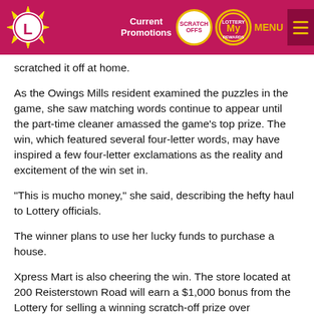Current Promotions  SCRATCH OFFS  My Rewards  MENU
scratched it off at home.
As the Owings Mills resident examined the puzzles in the game, she saw matching words continue to appear until the part-time cleaner amassed the game's top prize. The win, which featured several four-letter words, may have inspired a few four-letter exclamations as the reality and excitement of the win set in.
“This is mucho money,” she said, describing the hefty haul to Lottery officials.
The winner plans to use her lucky funds to purchase a house.
Xpress Mart is also cheering the win. The store located at 200 Reisterstown Road will earn a $1,000 bonus from the Lottery for selling a winning scratch-off prize over $100,000.